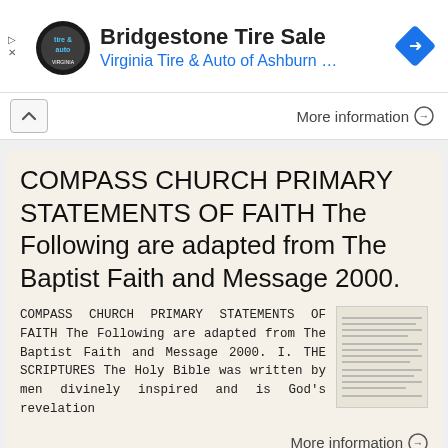[Figure (logo): Bridgestone Tire Sale ad with Virginia Tire & Auto of Ashburn logo and navigation arrow icon]
More information →
COMPASS CHURCH PRIMARY STATEMENTS OF FAITH The Following are adapted from The Baptist Faith and Message 2000.
COMPASS CHURCH PRIMARY STATEMENTS OF FAITH The Following are adapted from The Baptist Faith and Message 2000. I. THE SCRIPTURES The Holy Bible was written by men divinely inspired and is God's revelation
More information →
cnbc Statement of Faith